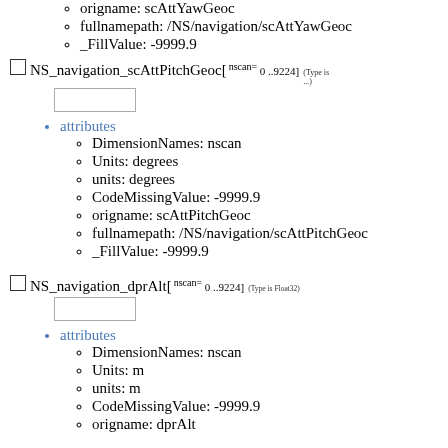origname: scAttYawGeoc
fullnamepath: /NS/navigation/scAttYawGeoc
_FillValue: -9999.9
NS_navigation_scAttPitchGeoc[ nscan= 0 ..9224] (Type is ...)
attributes
DimensionNames: nscan
Units: degrees
units: degrees
CodeMissingValue: -9999.9
origname: scAttPitchGeoc
fullnamepath: /NS/navigation/scAttPitchGeoc
_FillValue: -9999.9
NS_navigation_dprAlt[ nscan= 0 ..9224] (Type is Float32)
attributes
DimensionNames: nscan
Units: m
units: m
CodeMissingValue: -9999.9
origname: dprAlt